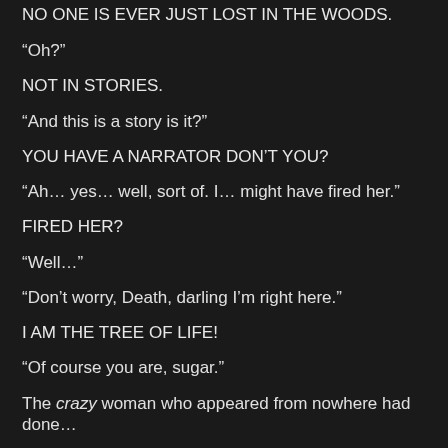NO ONE IS EVER JUST LOST IN THE WOODS.
“Oh?”
NOT IN STORIES.
“And this is a story is it?”
YOU HAVE A NARRATOR DON’T YOU?
“Ah… yes… well, sort of. I… might have fired her.”
FIRED HER?
“Well…”
“Don’t worry, Death, darling I’m right here.”
I AM THE TREE OF LIFE!
“Of course you are, sugar.”
The crazy woman who appeared from nowhere had done…